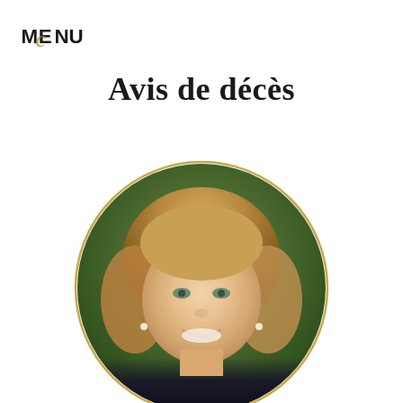MENU
Avis de décès
[Figure (photo): Circular portrait photograph of a smiling woman with blonde hair, framed by a gold circle border, on a white background.]